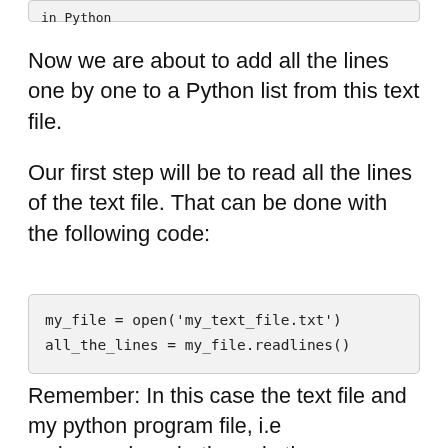in Python
Now we are about to add all the lines one by one to a Python list from this text file.
Our first step will be to read all the lines of the text file. That can be done with the following code:
my_file = open('my_text_file.txt')
all_the_lines = my_file.readlines()
Remember: In this case the text file and my python program file, i.e codespeedy.py both are in the same directory. If your text file is located in some other directory or folder then you must need to mention the location or path of your text file here: my_file = open('path_of_your_file')